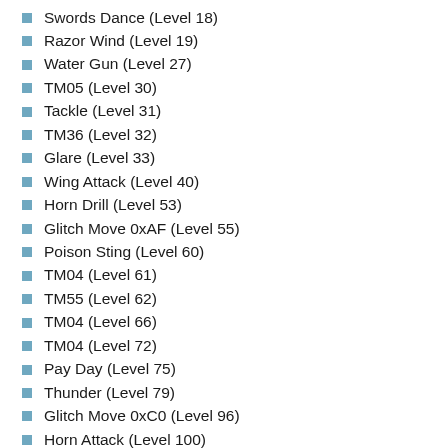Swords Dance (Level 18)
Razor Wind (Level 19)
Water Gun (Level 27)
TM05 (Level 30)
Tackle (Level 31)
TM36 (Level 32)
Glare (Level 33)
Wing Attack (Level 40)
Horn Drill (Level 53)
Glitch Move 0xAF (Level 55)
Poison Sting (Level 60)
TM04 (Level 61)
TM55 (Level 62)
TM04 (Level 66)
TM04 (Level 72)
Pay Day (Level 75)
Thunder (Level 79)
Glitch Move 0xC0 (Level 96)
Horn Attack (Level 100)
Whirlwind (Level 120)
Aurora Beam (Level 132)
Horn Drill (Level 147)